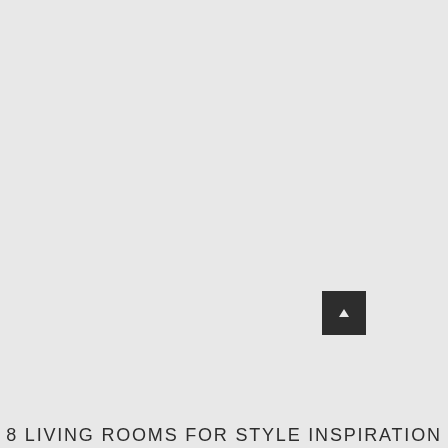[Figure (other): Large grey placeholder image area occupying most of the page]
[Figure (other): Small dark square navigation button with upward arrow, positioned lower right]
8 LIVING ROOMS FOR STYLE INSPIRATION